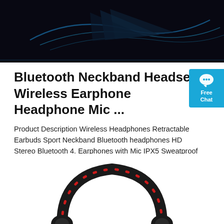[Figure (photo): Dark product hero image with blue neon light accents against a black background, showing abstract shapes]
Bluetooth Neckband Headset Wireless Earphone Headphone Mic ...
Product Description Wireless Headphones Retractable Earbuds Sport Neckband Bluetooth headphones HD Stereo Bluetooth 4. Earphones with Mic IPX5 Sweatproof for Gym Workout Feature: 【UPGRADED STRONG BATTERY LIFE】 150mAh lithium polymer battery allows seamless enjoyment of music for up to 12 hours, 15 hours of talk time and 350 hours stand-by …
[Figure (illustration): Free Chat badge button in blue color with speech bubble icon]
[Figure (photo): Black and red neckband headset/headphones product photo, partially visible at bottom of page]
Get Price